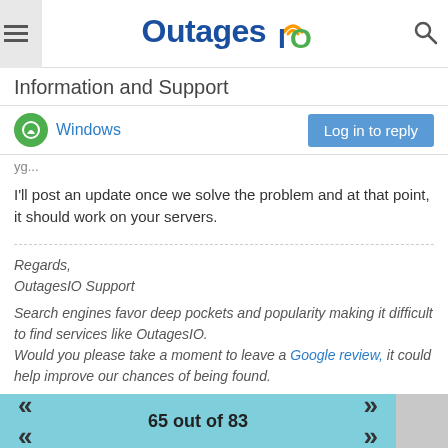OutagesIO — Information and Support
Windows
I'll post an update once we solve the problem and at that point, it should work on your servers.
Regards,
OutagesIO Support
Search engines favor deep pockets and popularity making it difficult to find services like OutagesIO.
Would you please take a moment to leave a Google review, it could help improve our chances of being found.
1 Reply  >   0
65 out of 83